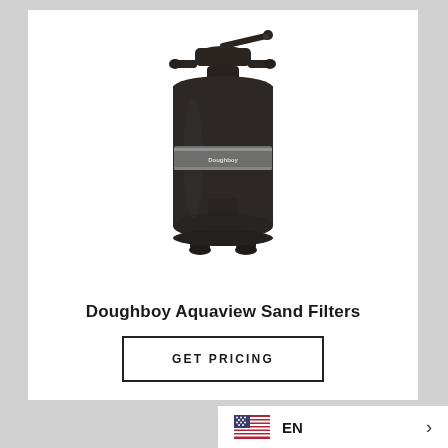[Figure (photo): Dark charcoal/black pool sand filter with multiport valve on top and small feet at the base. The tank has a metallic label band around the middle. The unit is photographed on a white background.]
Doughboy Aquaview Sand Filters
GET PRICING